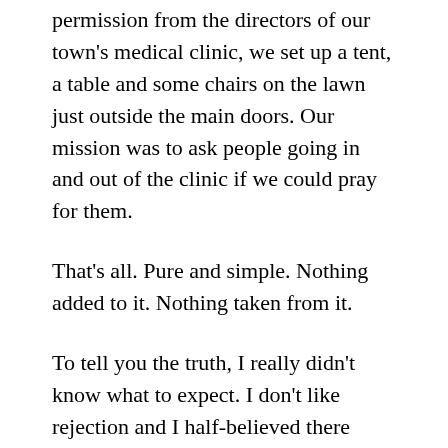permission from the directors of our town's medical clinic, we set up a tent, a table and some chairs on the lawn just outside the main doors. Our mission was to ask people going in and out of the clinic if we could pray for them.
That's all. Pure and simple. Nothing added to it. Nothing taken from it.
To tell you the truth, I really didn't know what to expect. I don't like rejection and I half-believed there would be a lot of that, but God knows I love to pray and so do these two godly men I served alongside. I especially love to pray with others, taking their names to the throne of grace while holding their hands.